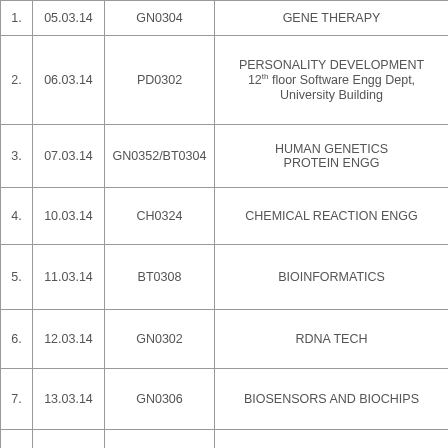| # | Date | Code | Subject |
| --- | --- | --- | --- |
| 1. | 05.03.14 | GN0304 | GENE THERAPY |
| 2. | 06.03.14 | PD0302 | PERSONALITY DEVELOPMENT
12th floor Software Engg Dept, University Building |
| 3. | 07.03.14 | GN0352/BT0304 | HUMAN GENETICS
PROTEIN ENGG |
| 4. | 10.03.14 | CH0324 | CHEMICAL REACTION ENGG |
| 5. | 11.03.14 | BT0308 | BIOINFORMATICS |
| 6. | 12.03.14 | GN0302 | RDNA TECH |
| 7. | 13.03.14 | GN0306 | BIOSENSORS AND BIOCHIPS |
| 8. | 14.03.14 | GN0308 | COMPREHENSION II |